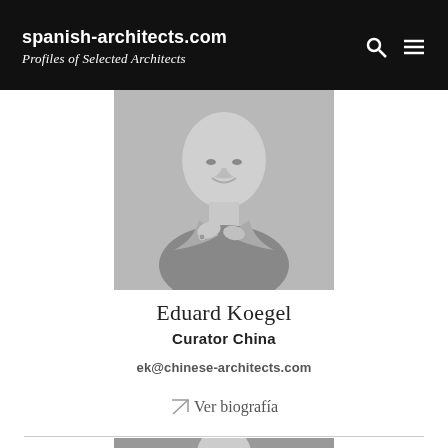spanish-architects.com — Profiles of Selected Architects
[Figure (photo): Black and white portrait photo of Eduard Koegel, a man adjusting his collar, smiling slightly, wearing a ring.]
Eduard Koegel
Curator China
ek@chinese-architects.com
↗ Ver biografía
[Figure (photo): Partial black and white portrait photo at bottom of page, cropped.]